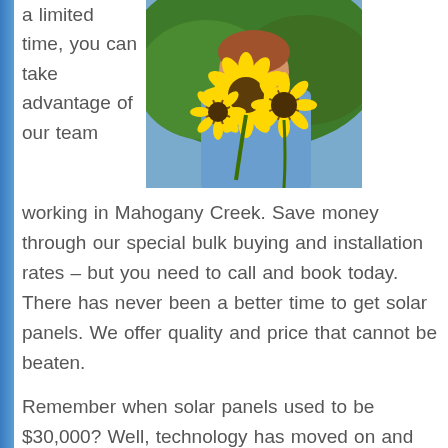a limited time, you can take advantage of our team
[Figure (photo): A person holding bright yellow sunflowers outdoors, wearing a denim jacket, with green foliage in the background.]
working in Mahogany Creek.  Save money through our special bulk buying and installation rates – but you need to call and book today.  There has never been a better time to get solar panels. We offer quality and price that cannot be beaten.
Remember when solar panels used to be $30,000? Well, technology has moved on and you can now buy better quality solar panels starting at just $2,000 for a fully installed, fully operational solar panel system.  You'll not only save thousands on your new system, you'll also see massive savings on your power bill.   In fact many people have their solar power system fully paid back from power